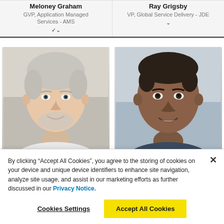Meloney Graham
GVP, Application Managed Services - AMS
Ray Grigsby
VP, Global Service Delivery - JDE
[Figure (photo): Headshot of an older white man with grey hair and beard, smiling, light background]
[Figure (photo): Headshot of a middle-aged man with short dark hair, smiling, light background]
By clicking “Accept All Cookies”, you agree to the storing of cookies on your device and unique device identifiers to enhance site navigation, analyze site usage, and assist in our marketing efforts as further discussed in our Privacy Notice.
Cookies Settings
Accept All Cookies